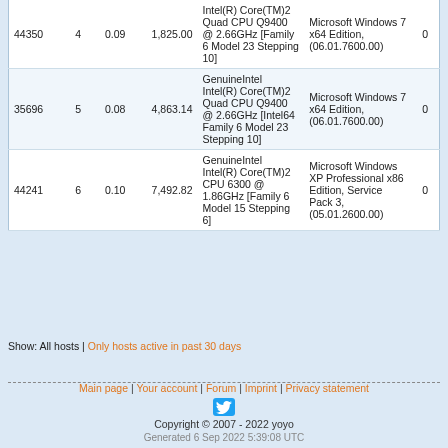| ID | # | Avg | Total | CPU | OS | Z |
| --- | --- | --- | --- | --- | --- | --- |
| 44350 | 4 | 0.09 | 1,825.00 | Intel(R) Core(TM)2 Quad CPU Q9400 @ 2.66GHz [Family 6 Model 23 Stepping 10] | Microsoft Windows 7 x64 Edition, (06.01.7600.00) | 0 |
| 35696 | 5 | 0.08 | 4,863.14 | GenuineIntel Intel(R) Core(TM)2 Quad CPU Q9400 @ 2.66GHz [Intel64 Family 6 Model 23 Stepping 10] | Microsoft Windows 7 x64 Edition, (06.01.7600.00) | 0 |
| 44241 | 6 | 0.10 | 7,492.82 | GenuineIntel Intel(R) Core(TM)2 CPU 6300 @ 1.86GHz [Family 6 Model 15 Stepping 6] | Microsoft Windows XP Professional x86 Edition, Service Pack 3, (05.01.2600.00) | 0 |
Show: All hosts | Only hosts active in past 30 days
Main page | Your account | Forum | Imprint | Privacy statement
Copyright © 2007 - 2022 yoyo
Generated 6 Sep 2022 5:39:08 UTC